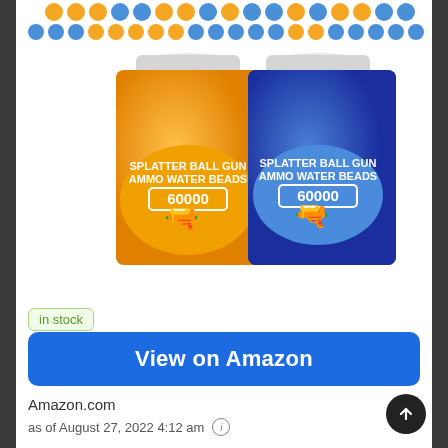[Figure (photo): Two jars of Splatter Ball Gun Ammo Water Beads (60000 count), one orange and one blue, with decorative bead pattern across the top of the image]
in stock
View on Amazon
Amazon.com
as of August 27, 2022 4:12 am ℹ